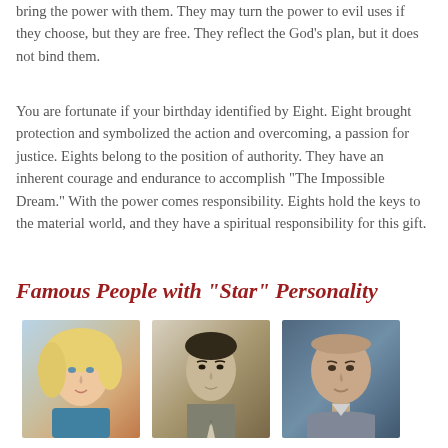bring the power with them. They may turn the power to evil uses if they choose, but they are free. They reflect the God's plan, but it does not bind them.
You are fortunate if your birthday identified by Eight. Eight brought protection and symbolized the action and overcoming, a passion for justice. Eights belong to the position of authority. They have an inherent courage and endurance to accomplish "The Impossible Dream." With the power comes responsibility. Eights hold the keys to the material world, and they have a spiritual responsibility for this gift.
Famous People with "Star" Personality
[Figure (photo): Photo of a blonde woman]
[Figure (photo): Black and white photo of a man in a suit and tie]
[Figure (photo): Photo of a bald man in a suit]